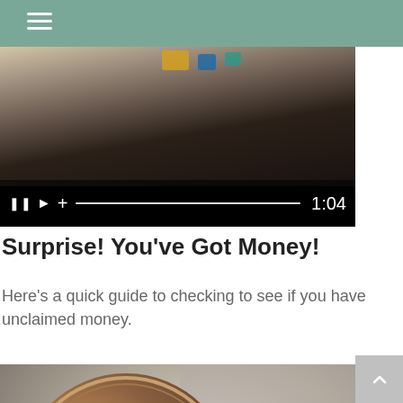[Figure (screenshot): Video player screenshot showing a person's hand on a desk with colorful items. Controls show pause, play, plus buttons, a progress bar, and timestamp 1:04.]
Surprise! You've Got Money!
Here's a quick guide to checking to see if you have unclaimed money.
[Figure (photo): Close-up photograph of a United States penny coin showing Lincoln Memorial and text 'UNITED STATES OF AMERICA' and 'E PLURIBUS UNUM'.]